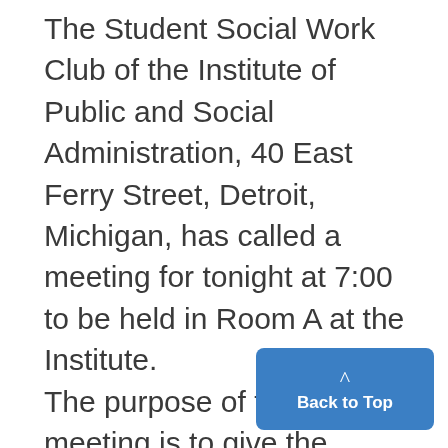The Student Social Work Club of the Institute of Public and Social Administration, 40 East Ferry Street, Detroit, Michigan, has called a meeting for tonight at 7:00 to be held in Room A at the Institute. The purpose of this meeting is to give the students a better understanding of the plans and programs of the National Conference of Social Work to be held at Grand Rapids, Michigan, May 26-June 1. Members of the faculty will present brief various phases of the Conferen